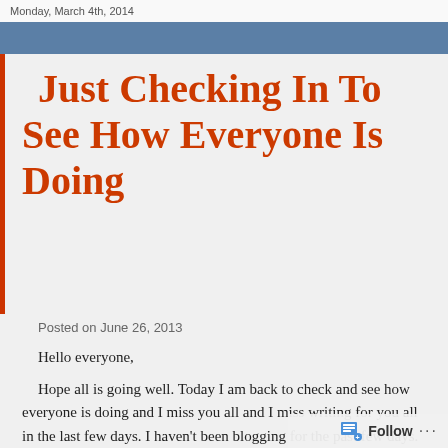Monday, March 4th, 2014
Just Checking In To See How Everyone Is Doing
Posted on June 26, 2013
Hello everyone,
Hope all is going well. Today I am back to check and see how everyone is doing and I miss you all and I miss writing for you all in the last few days. I haven't been blogging for the past few days. Been so incredibly busy